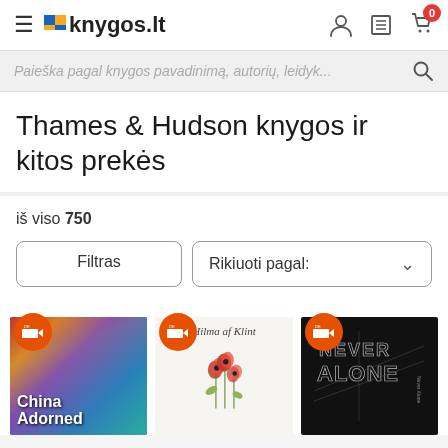knygos.lt
Paieška pagal knygos pavadinimą, autorių, leidyk...
Thames & Hudson knygos ir kitos prekės
iš viso 750
Filtras
Rikiuoti pagal:
[Figure (photo): Book cover: China Adorned]
[Figure (photo): Book cover: Hilma af Klint]
[Figure (photo): Book cover: Never Alone (dark cover with geometric text)]